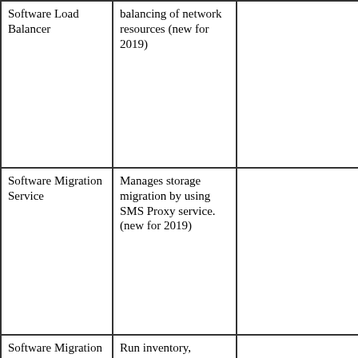| Software Load Balancer | balancing of network resources (new for 2019) |  |
| Software Migration Service | Manages storage migration by using SMS Proxy service.(new for 2019) |  |
| Software Migration Service Proxy | Run inventory, transfer and cutover for storage migration (new for 2019) |  |
| Storage Replica | Allows replication of data for storage (new | Storage-Replica |